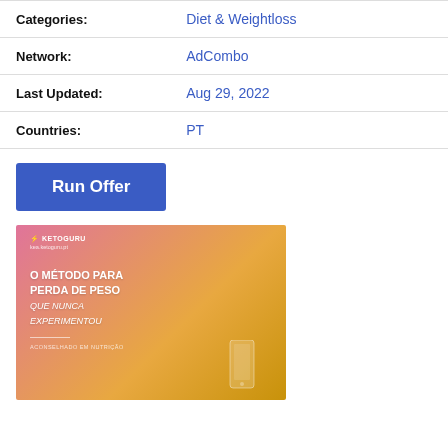| Label | Value |
| --- | --- |
| Categories: | Diet & Weightloss |
| Network: | AdCombo |
| Last Updated: | Aug 29, 2022 |
| Countries: | PT |
Run Offer
[Figure (photo): Advertisement image for KetoGuru weight loss product with pink-to-gold gradient background, woman's face, and text in Portuguese: 'O MÉTODO PARA PERDA DE PESO QUE NUNCA EXPERIMENTOU']